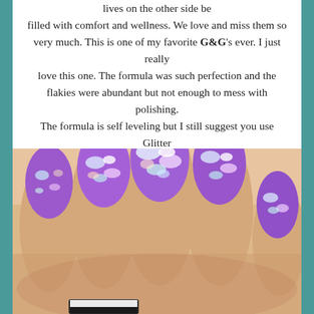lives on the other side be filled with comfort and wellness. We love and miss them so very much. This is one of my favorite G&G's ever. I just really love this one. The formula was such perfection and the flakies were abundant but not enough to mess with polishing. The formula is self leveling but I still suggest you use Glitter Grabber for such a flakie dense polish. I used 2 perfect coats for my swatches. Also, I had a pet pass not too long ago so that is the picture you will see below. ❤
[Figure (photo): Close-up photo of a hand with purple glitter nail polish with iridescent flakies on manicured nails]